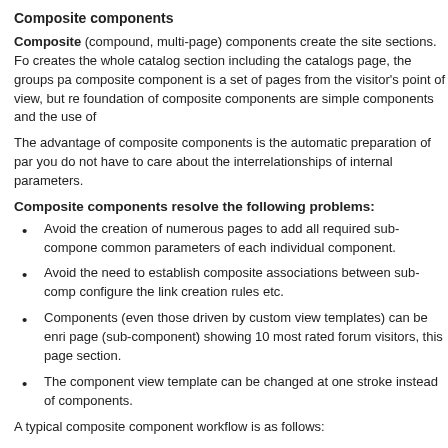Composite components
Composite (compound, multi-page) components create the site sections. Fo creates the whole catalog section including the catalogs page, the groups pa composite component is a set of pages from the visitor's point of view, but re foundation of composite components are simple components and the use of
The advantage of composite components is the automatic preparation of par you do not have to care about the interrelationships of internal parameters.
Composite components resolve the following problems:
Avoid the creation of numerous pages to add all required sub-compone common parameters of each individual component.
Avoid the need to establish composite associations between sub-comp configure the link creation rules etc.
Components (even those driven by custom view templates) can be enri page (sub-component) showing 10 most rated forum visitors, this page section.
The component view template can be changed at one stroke instead of components.
A typical composite component workflow is as follows:
the component takes user actions on input and defines the exact page template to the page;
the page template attaches simple components and configures their pa
the simple components perform the requested operations: request data